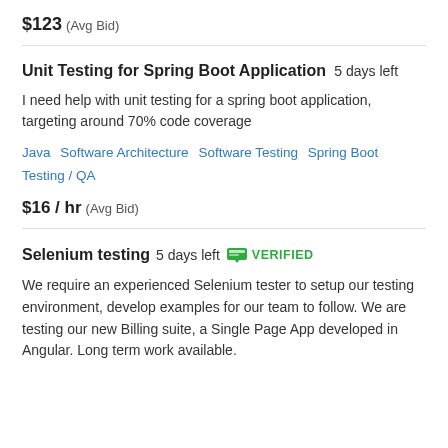$123  (Avg Bid)
Unit Testing for Spring Boot Application  5 days left
I need help with unit testing for a spring boot application, targeting around 70% code coverage
Java  Software Architecture  Software Testing  Spring Boot  Testing / QA
$16 / hr  (Avg Bid)
Selenium testing  5 days left  VERIFIED
We require an experienced Selenium tester to setup our testing environment, develop examples for our team to follow. We are testing our new Billing suite, a Single Page App developed in Angular. Long term work available.